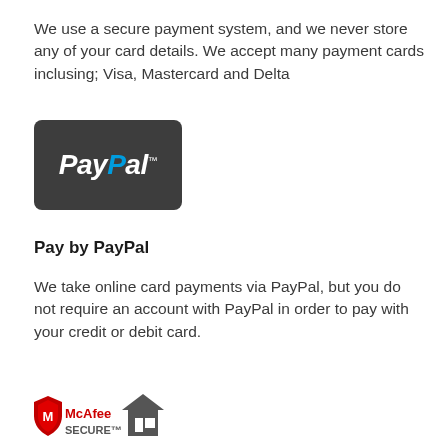We use a secure payment system, and we never store any of your card details. We accept many payment cards inclusing; Visa, Mastercard and Delta
[Figure (logo): PayPal logo on dark grey rounded rectangle background with italic white bold text 'PayPal' and trademark symbol]
Pay by PayPal
We take online card payments via PayPal, but you do not require an account with PayPal in order to pay with your credit or debit card.
[Figure (logo): McAfee SECURE logo with shield icon and house icon]